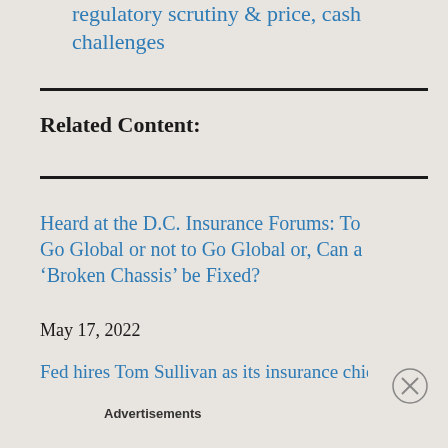regulatory scrutiny & price, cash challenges
Related Content:
Heard at the D.C. Insurance Forums: To Go Global or not to Go Global or, Can a ‘Broken Chassis’ be Fixed?
May 17, 2022
Fed hires Tom Sullivan as its insurance chief
Advertisements